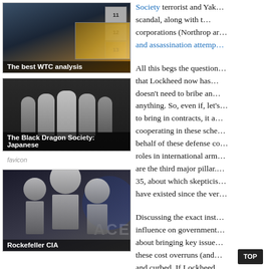[Figure (photo): The best WTC analysis - image showing WTC with thumbnail overlays numbered 11, 12, 13]
The best WTC analysis
[Figure (photo): The Black Dragon Society: Japanese - black and white photo of group of Japanese men]
The Black Dragon Society: Japanese
[Figure (photo): Rockefeller CIA - black and white photo of men]
Rockefeller CIA
Society terrorist and Yak... scandal, along with t... corporations (Northrop ar... and assassination attemp...
All this begs the question... that Lockheed now has... doesn't need to bribe an... anything. So, even if, let's... to bring in contracts, it a... cooperating in these sche... behalf of these defense co... roles in international arm... are the third major pillar.... 35, about which skepticis... have existed since the ver...
Discussing the exact inst... influence on government... about bringing key issue... these cost overruns (and... and curbed. If Lockheed...